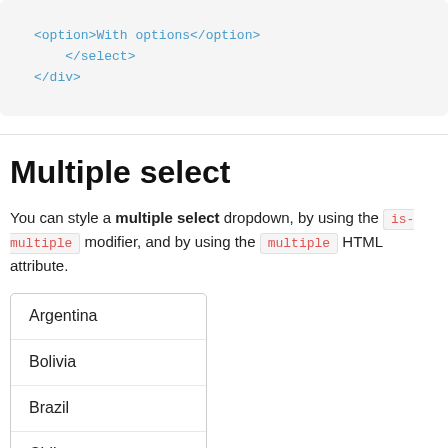<option>With options</option>
    </select>
</div>
Multiple select
You can style a multiple select dropdown, by using the is-multiple modifier, and by using the multiple HTML attribute.
[Figure (screenshot): A multiple select box showing options: Argentina, Bolivia, Brazil, Chile]